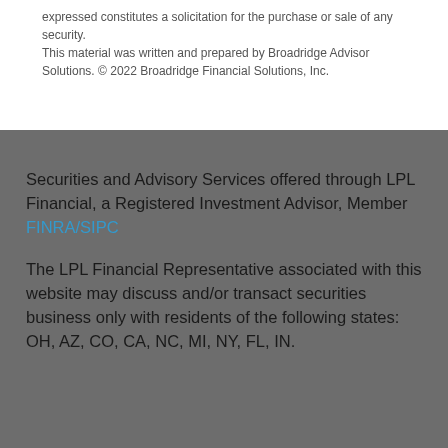expressed constitutes a solicitation for the purchase or sale of any security. This material was written and prepared by Broadridge Advisor Solutions. © 2022 Broadridge Financial Solutions, Inc.
Securities and Advisory Services offered through LPL Financial, a Registered Investment Advisor, Member FINRA/SIPC
The LPL Financial Representative associated with this website may discuss and/or transact securities business only with residents of the following states: OH, AZ, CO, CA, NC, MI, NY, FL, IN.